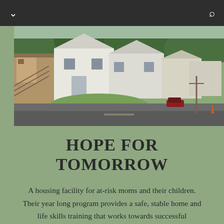[Figure (photo): Exterior photo of a multi-unit residential housing complex with white buildings, green lawn, paved parking lot, and tree-covered hillside in the background.]
HOPE FOR TOMORROW
A housing facility for at-risk moms and their children. Their year long program provides a safe, stable home and life skills training that works towards successful independent living.